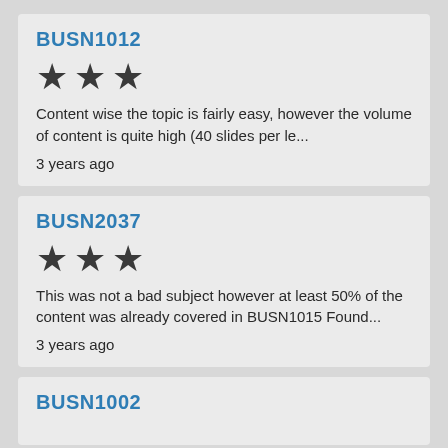BUSN1012
[Figure (other): Three filled star icons representing a 3-star rating]
Content wise the topic is fairly easy, however the volume of content is quite high (40 slides per le...
3 years ago
BUSN2037
[Figure (other): Three filled star icons representing a 3-star rating]
This was not a bad subject however at least 50% of the content was already covered in BUSN1015 Found...
3 years ago
BUSN1002